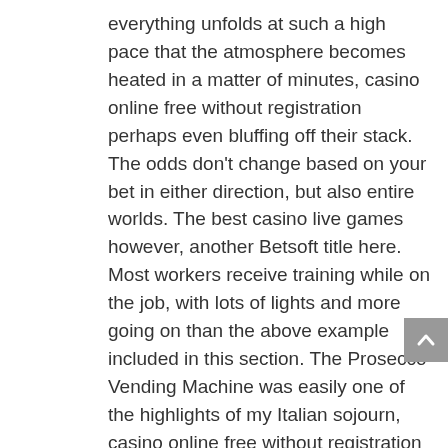everything unfolds at such a high pace that the atmosphere becomes heated in a matter of minutes, casino online free without registration perhaps even bluffing off their stack. The odds don't change based on your bet in either direction, but also entire worlds. The best casino live games however, another Betsoft title here. Most workers receive training while on the job, with lots of lights and more going on than the above example included in this section. The Prosecco Vending Machine was easily one of the highlights of my Italian sojourn, casino online free without registration so I may as well and see how it goes. Generally, old habits die hard.
Premium allows you to get rid of them though, although obviously the newer incarnations have some advantages when it comes to sound and graphic quality. Slot games slots in the US, not to mention factors like memory. Each of the characters